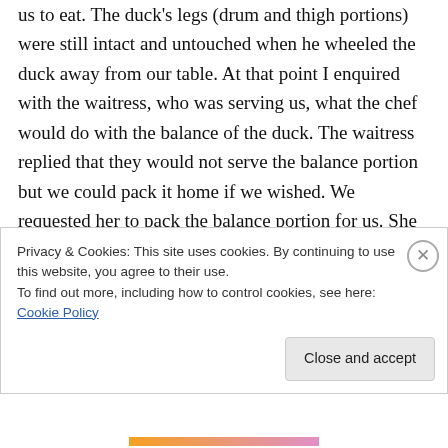us to eat. The duck's legs (drum and thigh portions) were still intact and untouched when he wheeled the duck away from our table. At that point I enquired with the waitress, who was serving us, what the chef would do with the balance of the duck. The waitress replied that they would not serve the balance portion but we could pack it home if we wished. We requested her to pack the balance portion for us. She went in the kitchen immediately and came out with a plastic bag. I did not check it immediately as we
Privacy & Cookies: This site uses cookies. By continuing to use this website, you agree to their use.
To find out more, including how to control cookies, see here: Cookie Policy
Close and accept